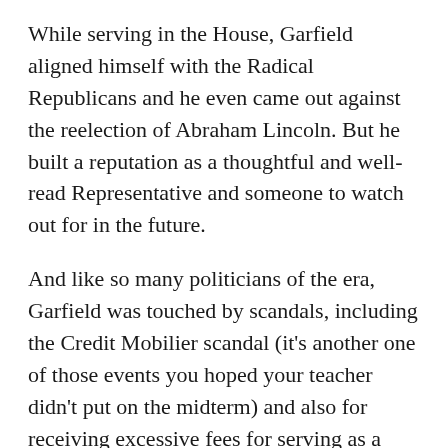While serving in the House, Garfield aligned himself with the Radical Republicans and he even came out against the reelection of Abraham Lincoln. But he built a reputation as a thoughtful and well-read Representative and someone to watch out for in the future.
And like so many politicians of the era, Garfield was touched by scandals, including the Credit Mobilier scandal (it’s another one of those events you hoped your teacher didn’t put on the midterm) and also for receiving excessive fees for serving as a lobbyist for a company. But compared to what was going in the Grant Administration, Garfield looked pretty clean.
In 1880, the Republican Party, which barely held on to the White House in 1876 thanks to some last-minute Electoral